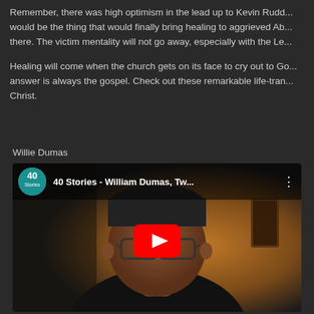Remember, there was high optimism in the lead up to Kevin Rudd... would be the thing that would finally bring healing to aggrieved Ab... there. The victim mentality will not go away, especially with the Le...
Healing will come when the church gets on its face to cry out to Go... answer is always the gospel. Check out these remarkable life-tran... Christ.
Willie Dumas
[Figure (screenshot): YouTube video thumbnail for '40 Stories - William Dumas, Tw...' showing a man wearing glasses and a dark hoodie against an orange/brown background, with a red YouTube play button in the center and the '40 Stories' channel logo in the top left.]